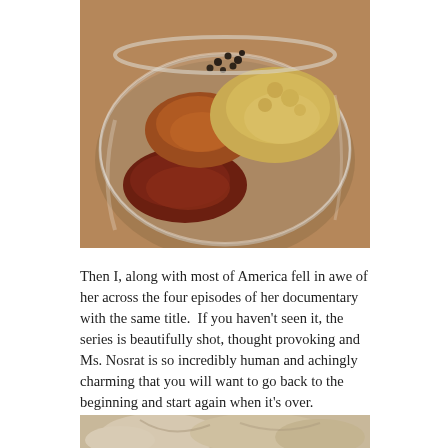[Figure (photo): A glass bowl containing several piles of spices including cinnamon (brown), cloves (dark reddish-brown), black pepper (whole, dark), and ginger powder (pale yellow), photographed from above on a wooden surface.]
Then I, along with most of America fell in awe of her across the four episodes of her documentary with the same title.  If you haven't seen it, the series is beautifully shot, thought provoking and Ms. Nosrat is so incredibly human and achingly charming that you will want to go back to the beginning and start again when it's over.
[Figure (photo): Partial view of a second food photograph, showing what appears to be bread or dough, visible only at the bottom edge of the page.]